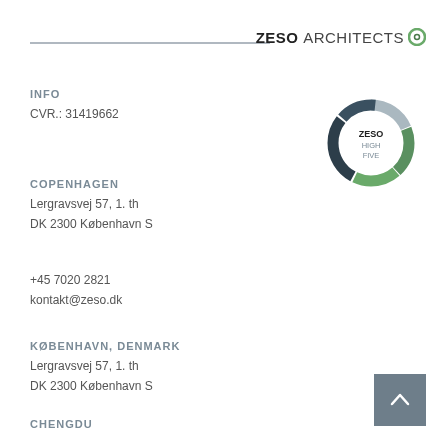[Figure (logo): ZESO ARCHITECTS logo with circular green/grey icon]
INFO
CVR.: 31419662
[Figure (donut-chart): ZESO HIGH FIVE donut chart with green, grey, and dark segments]
COPENHAGEN
Lergravsvej 57, 1. th
DK 2300 København S
+45 7020 2821
kontakt@zeso.dk
KØBENHAVN, DENMARK
Lergravsvej 57, 1. th
DK 2300 København S
CHENGDU